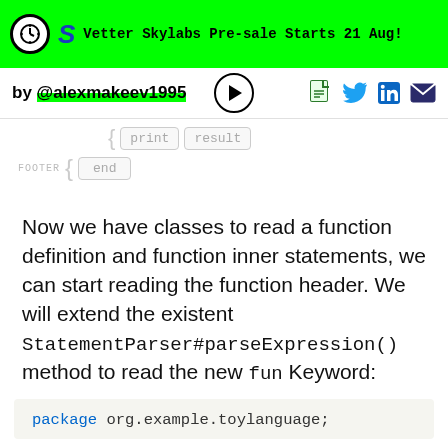Vetter Skylabs Pre-sale Starts 21 Aug!
by @alexmakeev1995
[Figure (schematic): Diagram showing code structure with boxes labeled 'print', 'result' and 'FOOTER { end']
Now we have classes to read a function definition and function inner statements, we can start reading the function header. We will extend the existent StatementParser#parseExpression() method to read the new fun Keyword:
package org.example.toylanguage;